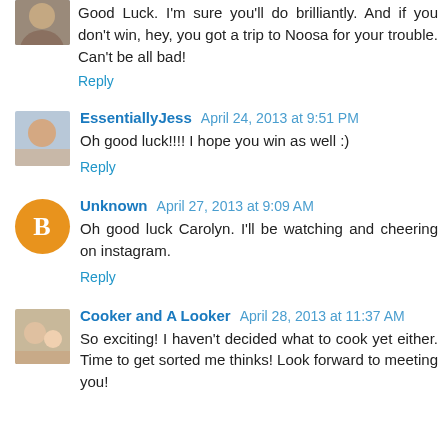[Figure (photo): Small avatar photo partially visible at top left]
Good Luck. I'm sure you'll do brilliantly. And if you don't win, hey, you got a trip to Noosa for your trouble. Can't be all bad!
Reply
[Figure (photo): Small avatar photo of a woman]
EssentiallyJess April 24, 2013 at 9:51 PM
Oh good luck!!!! I hope you win as well :)
Reply
[Figure (logo): Orange circle Blogger 'B' icon avatar]
Unknown April 27, 2013 at 9:09 AM
Oh good luck Carolyn. I'll be watching and cheering on instagram.
Reply
[Figure (photo): Small photo of woman with child]
Cooker and A Looker April 28, 2013 at 11:37 AM
So exciting! I haven't decided what to cook yet either. Time to get sorted me thinks! Look forward to meeting you!